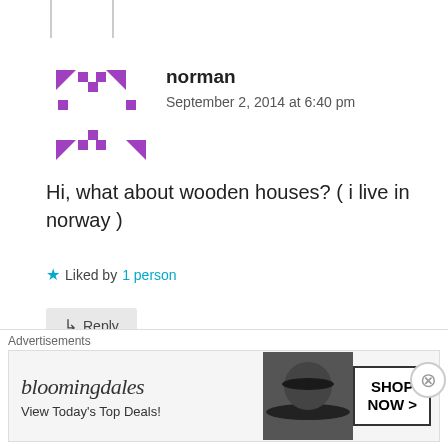[Figure (illustration): Purple pixelated/geometric avatar icon for user 'norman']
norman
September 2, 2014 at 6:40 pm
Hi, what about wooden houses? ( i live in norway )
★ Liked by 1 person
↳ Reply
[Figure (photo): Black and white photo avatar of user 'jasmcole']
jasmcole
Advertisements
[Figure (other): Bloomingdales advertisement banner: 'bloomingdales View Today's Top Deals! SHOP NOW >']